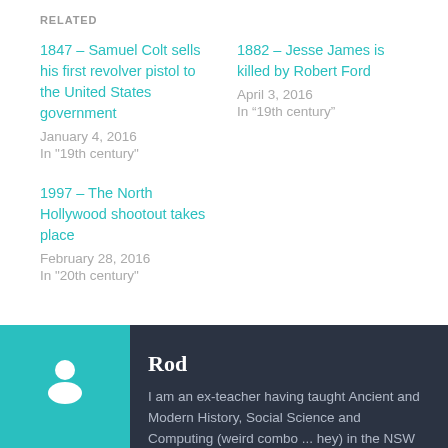RELATED
1847 – Samuel Colt sells his first revolver pistol to the United States government
January 4, 2016
In "19th century"
1882 – Jesse James is killed by Robert Ford
April 3, 2016
In “19th century”
1997 – The North Hollywood shootout takes place
February 28, 2016
In "20th century"
Rod
I am an ex-teacher having taught Ancient and Modern History, Social Science and Computing (weird combo ... hey) in the NSW (Australian)